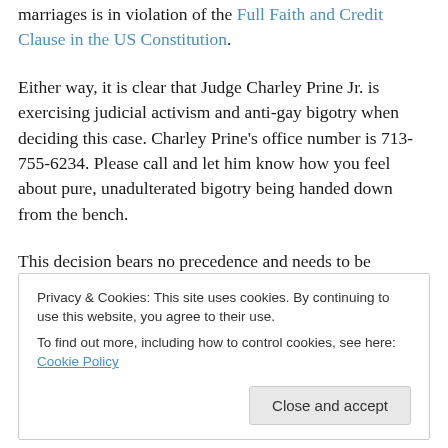marriages is in violation of the Full Faith and Credit Clause in the US Constitution.
Either way, it is clear that Judge Charley Prine Jr. is exercising judicial activism and anti-gay bigotry when deciding this case. Charley Prine's office number is 713-755-6234. Please call and let him know how you feel about pure, unadulterated bigotry being handed down from the bench.
This decision bears no precedence and needs to be challenged. Happily, William is appealing the bigoted
Privacy & Cookies: This site uses cookies. By continuing to use this website, you agree to their use.
To find out more, including how to control cookies, see here: Cookie Policy